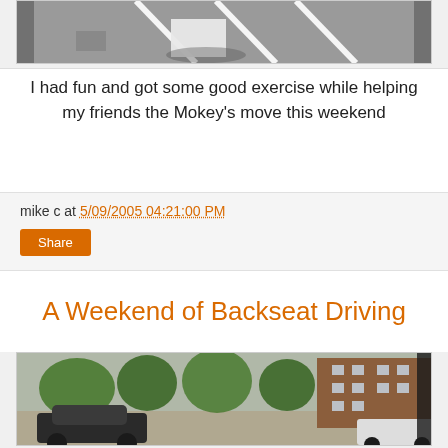[Figure (photo): Overhead/aerial view of a parking lot or paved area with white lane markings and what appears to be a white box or object on the ground, with shadows visible.]
I had fun and got some good exercise while helping my friends the Mokey's move this weekend
mike c at 5/09/2005 04:21:00 PM
Share
A Weekend of Backseat Driving
[Figure (photo): Street scene photograph showing a suburban street with parked cars, trees, and a large brick apartment building in the background. A dark car is visible in the foreground.]